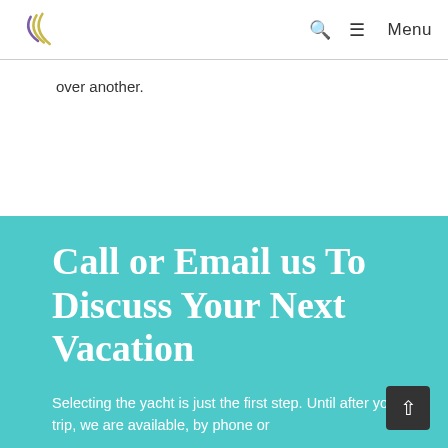[Logo] Search Menu
over another.
Call or Email us To Discuss Your Next Vacation
Selecting the yacht is just the first step. Until after your trip, we are available, by phone or